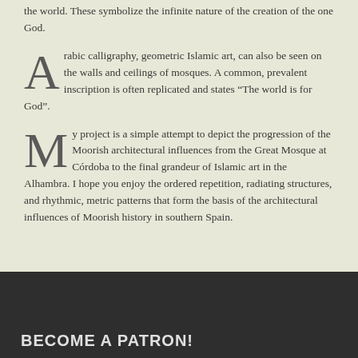the world. These symbolize the infinite nature of the creation of the one God.
Arabic calligraphy, geometric Islamic art, can also be seen on the walls and ceilings of mosques. A common, prevalent inscription is often replicated and states “The world is for God”.
My project is a simple attempt to depict the progression of the Moorish architectural influences from the Great Mosque at Córdoba to the final grandeur of Islamic art in the Alhambra. I hope you enjoy the ordered repetition, radiating structures, and rhythmic, metric patterns that form the basis of the architectural influences of Moorish history in southern Spain.
BECOME A PATRON!